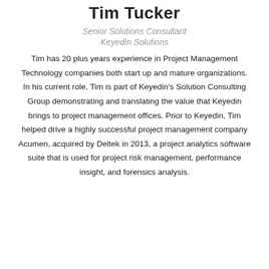Tim Tucker
Senior Solutions Consultant
KeyedIn Solutions
Tim has 20 plus years experience in Project Management Technology companies both start up and mature organizations. In his current role, Tim is part of Keyedin's Solution Consulting Group demonstrating and translating the value that Keyedin brings to project management offices. Prior to Keyedin, Tim helped drive a highly successful project management company Acumen, acquired by Deltek in 2013, a project analytics software suite that is used for project risk management, performance insight, and forensics analysis.